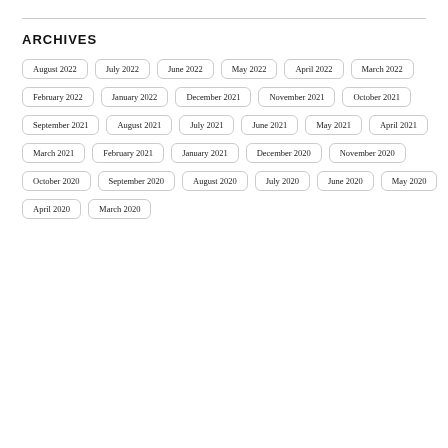ARCHIVES
August 2022
July 2022
June 2022
May 2022
April 2022
March 2022
February 2022
January 2022
December 2021
November 2021
October 2021
September 2021
August 2021
July 2021
June 2021
May 2021
April 2021
March 2021
February 2021
January 2021
December 2020
November 2020
October 2020
September 2020
August 2020
July 2020
June 2020
May 2020
April 2020
March 2020